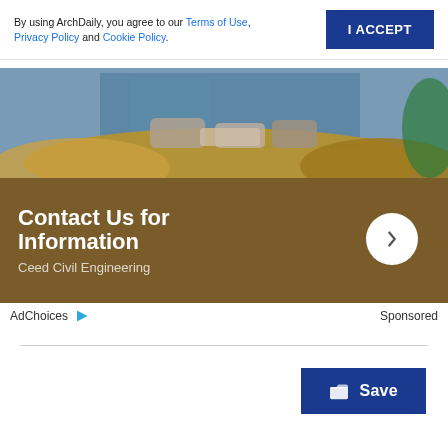By using ArchDaily, you agree to our Terms of Use, Privacy Policy and Cookie Policy.
I ACCEPT
[Figure (photo): Outdoor patio with seating furniture surrounded by ornamental grasses, with a blue building in background. Lower half shows brown overlay with 'Contact Us for Information' text and 'Ceed Civil Engineering' subtitle.]
AdChoices  Sponsored